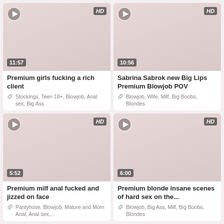[Figure (screenshot): Video thumbnail card top-left: play icon, HD badge, duration 11:57, title 'Premium girls fucking a rich client', tags: Stockings, Teen 18+, Blowjob, Anal sex, Big Ass]
[Figure (screenshot): Video thumbnail card top-right: play icon, HD badge, duration 10:56, title 'Sabrina Sabrok new Big Lips Premium Blowjob POV', tags: Blowjob, Wife, Milf, Big Boobs, Blondes]
[Figure (screenshot): Video thumbnail card bottom-left: play icon, HD badge, duration 5:52, title 'Premium milf anal fucked and jizzed on face', tags: Pantyhose, Blowjob, Mature and Mom Anal, Anal sex,...]
[Figure (screenshot): Video thumbnail card bottom-right: play icon, HD badge, duration 6:00, title 'Premium blonde insane scenes of hard sex on the...', tags: Blowjob, Big Ass, Milf, Big Boobs, Blondes]